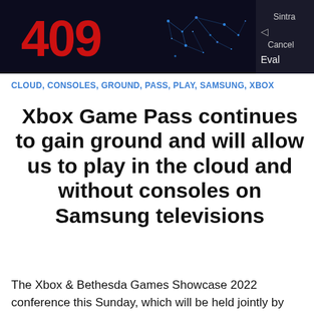[Figure (screenshot): Partial screenshot showing red '409' text and blue network/map graphic on dark background, with a UI panel on the right showing 'Sintra', a back arrow, 'Cancel', and partial 'Eval' text.]
CLOUD, CONSOLES, GROUND, PASS, PLAY, SAMSUNG, XBOX
Xbox Game Pass continues to gain ground and will allow us to play in the cloud and without consoles on Samsung televisions
The Xbox & Bethesda Games Showcase 2022 conference this Sunday, which will be held jointly by Microsoft and Bethesda, promises to leave us